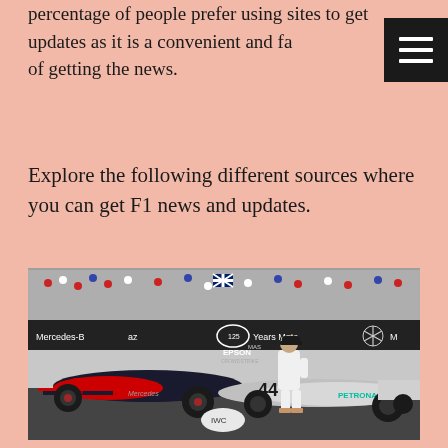percentage of people prefer using sites to get updates as it is a convenient and fast of getting the news.
Explore the following different sources where you can get F1 news and updates.
[Figure (photo): Formula 1 race scene showing F1 cars including Red Bull and Mercedes cars on pit lane, with a driver in white race suit walking between the cars. Crowd visible in grandstands in background. Mercedes-Benz and PETRONAS branding visible. EPSON sponsor on car number 44. IWC logo on car nose.]